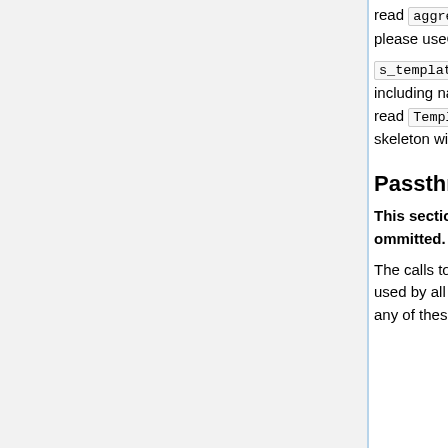read aggressionLW (yes, the beginning lowercase is intentional; please useCamelCase.)
s_templateName : The base name of the ability template page, including namespace. E.g. for {{Aggression (LW2)}} this value will read Template:Aggression (LW2) . The function in the skeleton will do this for you the first time the page is saved.
Passthroughs
This section of the skeleton should not be modified nor ommitted.
The calls to {{Ability (LW2)/Constants}} return default values to be used by all ability templates. This permits users to declare, or not, any of these parameters when calling a perk template, e.g.